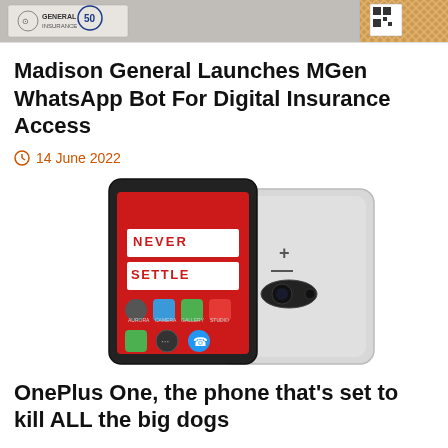[Figure (photo): Top banner image showing Madison General logo and promotional imagery]
Madison General Launches MGen WhatsApp Bot For Digital Insurance Access
14 June 2022
[Figure (photo): OnePlus One smartphone showing 'NEVER SETTLE' on screen, with back of device visible]
OnePlus One, the phone that’s set to kill ALL the big dogs